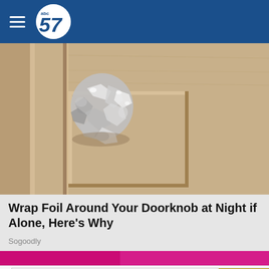[Figure (logo): ABC 57 news logo on dark blue header bar with hamburger menu icon]
[Figure (photo): Close-up photo of a door knob wrapped in aluminum foil on a beige/tan interior door]
Wrap Foil Around Your Doorknob at Night if Alone, Here's Why
Sogoodly
[Figure (photo): Partial banner image with pink/magenta colors at bottom of page]
[Figure (infographic): Advertisement banner: The perfect gift - 35% OFF + FREE SHIPPING with food product images and navigation arrows]